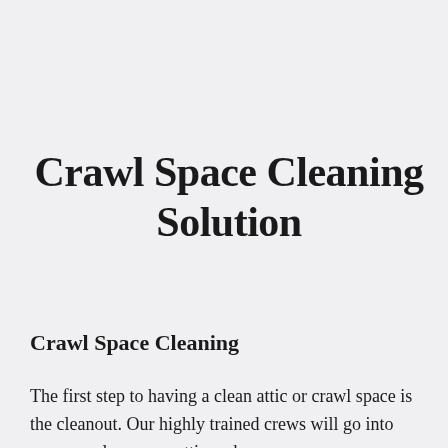Crawl Space Cleaning Solution
Crawl Space Cleaning
The first step to having a clean attic or crawl space is the cleanout. Our highly trained crews will go into your crawl space or attic and remove your vapor barrier, insulation,